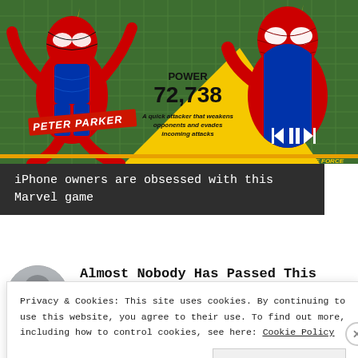[Figure (screenshot): Marvel Strike Force mobile game advertisement showing Spider-Man characters (Peter Parker animated and live-action) with POWER 72,738 stat and playback controls on a green city background]
iPhone owners are obsessed with this Marvel game
Almost Nobody Has Passed This Championship Quiz
Privacy & Cookies: This site uses cookies. By continuing to use this website, you agree to their use. To find out more, including how to control cookies, see here: Cookie Policy
Close and accept